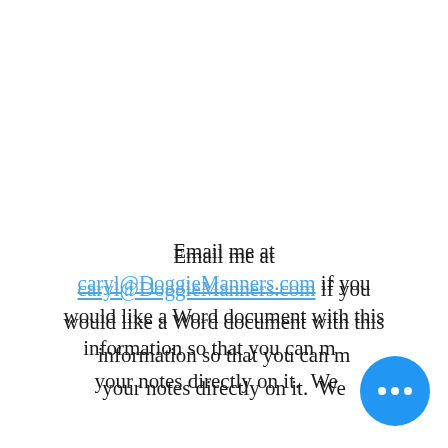Email me at caryl@DoggieManners.com if you would like a Word document with this information so that you can make your notes directly on it.  We d... (continues)